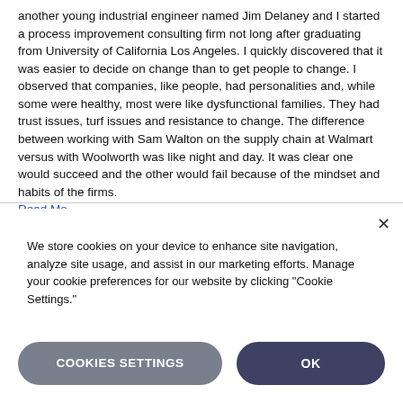another young industrial engineer named Jim Delaney and I started a process improvement consulting firm not long after graduating from University of California Los Angeles. I quickly discovered that it was easier to decide on change than to get people to change. I observed that companies, like people, had personalities and, while some were healthy, most were like dysfunctional families. They had trust issues, turf issues and resistance to change. The difference between working with Sam Walton on the supply chain at Walmart versus with Woolworth was like night and day. It was clear one would succeed and the other would fail because of the mindset and habits of the firms.
Read More...
We store cookies on your device to enhance site navigation, analyze site usage, and assist in our marketing efforts. Manage your cookie preferences for our website by clicking "Cookie Settings."
COOKIES SETTINGS
OK